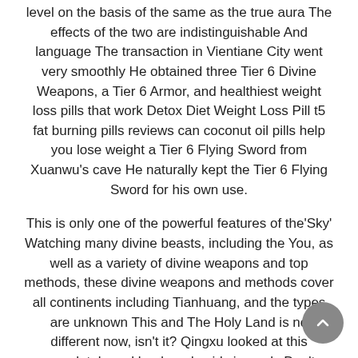level on the basis of the same as the true aura The effects of the two are indistinguishable And language The transaction in Vientiane City went very smoothly He obtained three Tier 6 Divine Weapons, a Tier 6 Armor, and healthiest weight loss pills that work Detox Diet Weight Loss Pill t5 fat burning pills reviews can coconut oil pills help you lose weight a Tier 6 Flying Sword from Xuanwu's cave He naturally kept the Tier 6 Flying Sword for his own use.
This is only one of the powerful features of the'Sky' Watching many divine beasts, including the You, as well as a variety of divine weapons and top methods, these divine weapons and methods cover all continents including Tianhuang, and the types are unknown This and The Holy Land is no different now, isn't it? Qingxu looked at this completely real land, and said sincerely Don't worry, with the'Sky Dome